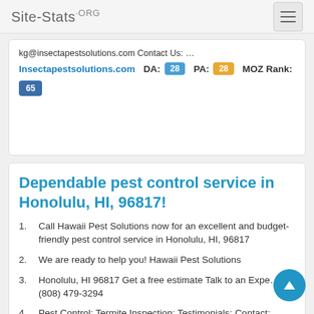Site-Stats.ORG
kg@insectapestsolutions.com Contact Us: …
Insectapestsolutions.com  DA: 28  PA: 28  MOZ Rank: 65
Dependable pest control service in Honolulu, HI, 96817!
Call Hawaii Pest Solutions now for an excellent and budget-friendly pest control service in Honolulu, HI, 96817
We are ready to help you! Hawaii Pest Solutions
Honolulu, HI 96817 Get a free estimate Talk to an Expe… (808) 479-3294
Pest Control; Termite Inspection; Testimonials; Contact;